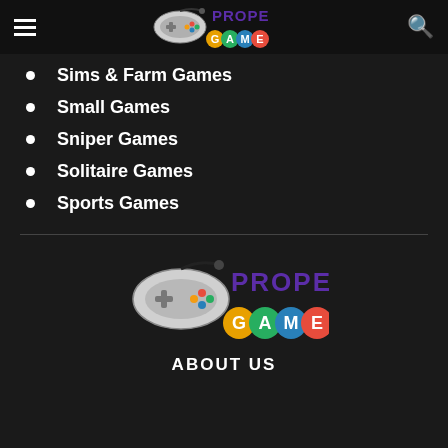PROPE GAME logo header with hamburger menu and search icon
Sims & Farm Games
Small Games
Sniper Games
Solitaire Games
Sports Games
[Figure (logo): PROPE GAME logo with game controller and colorful letter circles for G, A, M, E]
ABOUT US